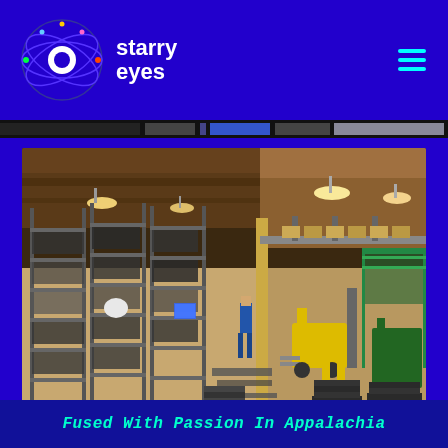[Figure (logo): Starry Eyes logo with circular eye/orbit graphic and white text 'starry eyes']
[Figure (photo): Interior of an industrial warehouse/manufacturing facility showing metal shelving racks with parts on the left, yellow forklifts in the center, stacked metal plates on the floor, overhead lighting, and industrial equipment on the right side]
Fused With Passion In Appalachia